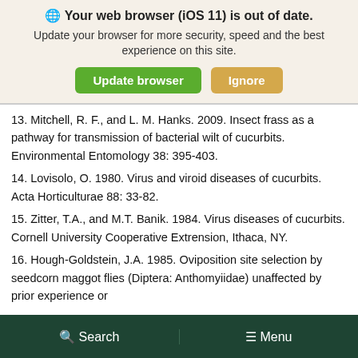[Figure (screenshot): Browser update notification banner with globe icon, bold title 'Your web browser (iOS 11) is out of date.', subtitle text, and two buttons: 'Update browser' (green) and 'Ignore' (tan/yellow).]
13. Mitchell, R. F., and L. M. Hanks. 2009. Insect frass as a pathway for transmission of bacterial wilt of cucurbits. Environmental Entomology 38: 395-403.
14. Lovisolo, O. 1980. Virus and viroid diseases of cucurbits. Acta Horticulturae 88: 33-82.
15. Zitter, T.A., and M.T. Banik. 1984. Virus diseases of cucurbits. Cornell University Cooperative Extrension, Ithaca, NY.
16. Hough-Goldstein, J.A. 1985. Oviposition site selection by seedcorn maggot flies (Diptera: Anthomyiidae) unaffected by prior experience or
Search   Menu